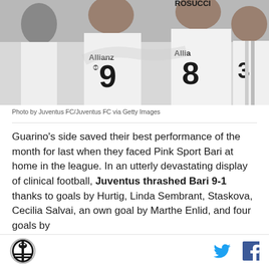[Figure (photo): Juventus FC women's team players celebrating on the pitch, wearing white jerseys with Allianz sponsor logos and numbers 9 and 8 (ROSUCCI) visible.]
Photo by Juventus FC/Juventus FC via Getty Images
Guarino's side saved their best performance of the month for last when they faced Pink Sport Bari at home in the league. In an utterly devastating display of clinical football, Juventus thrashed Bari 9-1 thanks to goals by Hurtig, Linda Sembrant, Staskova, Cecilia Salvai, an own goal by Marthe Enlid, and four goals by
[Figure (logo): Juventus FC circular crest logo in black and white]
[Figure (logo): Twitter bird icon in blue]
[Figure (logo): Facebook f icon in dark blue]